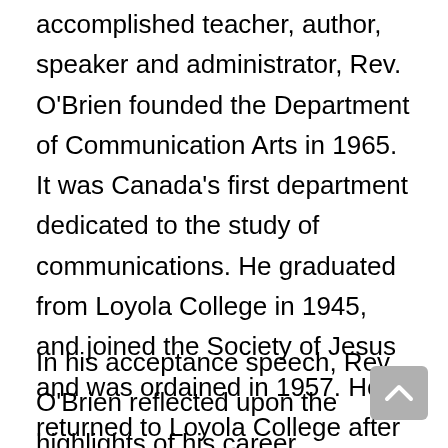accomplished teacher, author, speaker and administrator, Rev. O'Brien founded the Department of Communication Arts in 1965. It was Canada's first department dedicated to the study of communications. He graduated from Loyola College in 1945, and joined the Society of Jesus and was ordained in 1957. He returned to Loyola College after earning a doctorate in communication from the University of Southern California.
In his acceptance speech, Rev. O'Brien reflected upon the highlights of his career